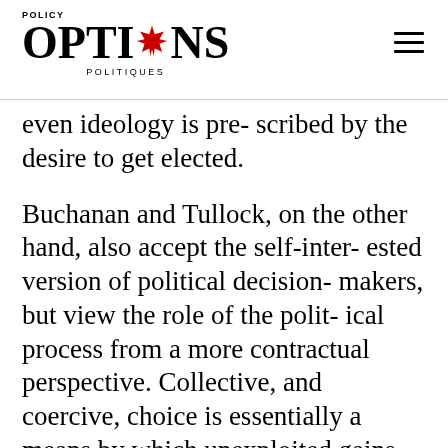POLICY OPTIONS POLITIQUES
even ideology is pre- scribed by the desire to get elected.
Buchanan and Tullock, on the other hand, also accept the self-inter- ested version of political decision- makers, but view the role of the polit- ical process from a more contractual perspective. Collective, and coercive, choice is essentially a means by which unexploited gains from trade are internalized. Because of the free-rider problem, this cannot be done by vol- untary contract: governments are needed. However, collective decision- making comes